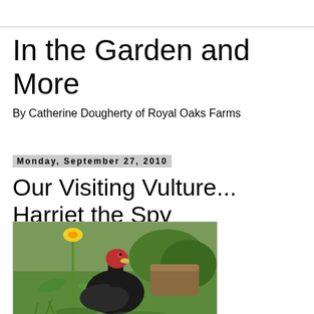In the Garden and More
By Catherine Dougherty of Royal Oaks Farms
Monday, September 27, 2010
Our Visiting Vulture... Harriet the Spy
[Figure (photo): A turkey vulture with dark black feathers and red head standing among garden plants including daffodils, with a log or tree stump visible in the background on green grass.]